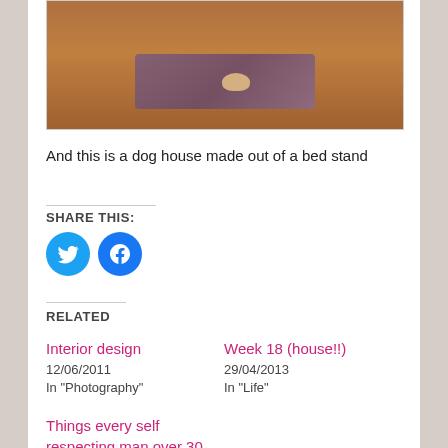[Figure (photo): Photo of a dog on a rug on a wooden floor, partially visible at top of page]
And this is a dog house made out of a bed stand
SHARE THIS:
[Figure (infographic): Twitter and Facebook social sharing icon buttons]
RELATED
Interior design
12/06/2011
In "Photography"
Week 18 (house!!)
29/04/2013
In "Life"
Things every self respecting man over 30